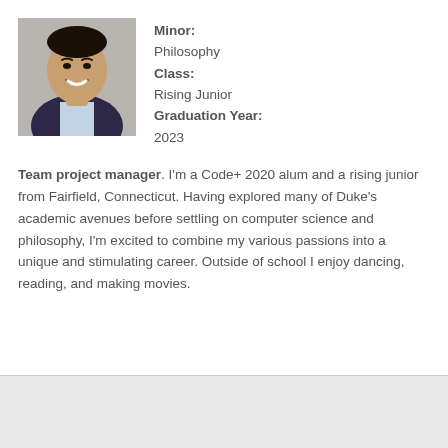[Figure (photo): Portrait photo of a young man in a navy blazer and light blue shirt, smiling]
Minor:
Philosophy
Class:
Rising Junior
Graduation Year:
2023
Team project manager. I'm a Code+ 2020 alum and a rising junior from Fairfield, Connecticut. Having explored many of Duke's academic avenues before settling on computer science and philosophy, I'm excited to combine my various passions into a unique and stimulating career. Outside of school I enjoy dancing, reading, and making movies.